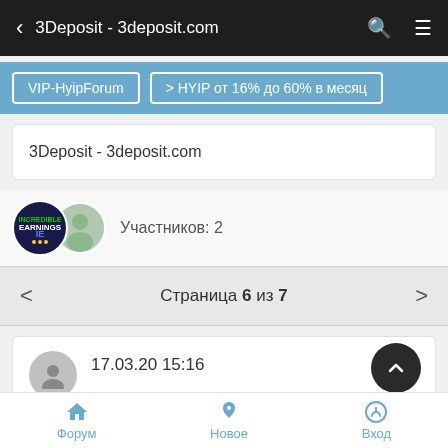3Deposit - 3deposit.com
VIP-HyipForum  > HYIP от 16% до 60% в месяц
3Deposit - 3deposit.com
Участников: 2
Страница 6 из 7
17.03.20 15:16
Форум  Новое  Вход